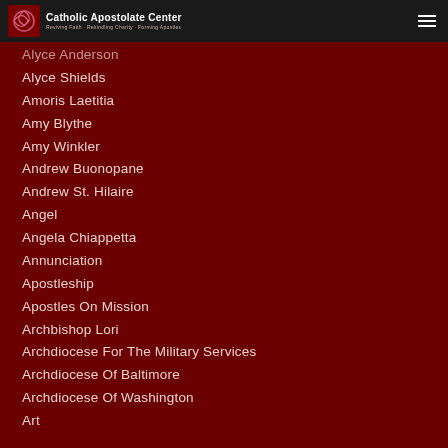Catholic Apostolate Center — Reviving Faith · Rekindling Charity · Forming Apostles
Alyce Anderson
Alyce Shields
Amoris Laetitia
Amy Blythe
Amy Winkler
Andrew Buonopane
Andrew St. Hilaire
Angel
Angela Chiappetta
Annunciation
Apostleship
Apostles On Mission
Archbishop Lori
Archdiocese For The Military Services
Archdiocese Of Baltimore
Archdiocese Of Washington
Art